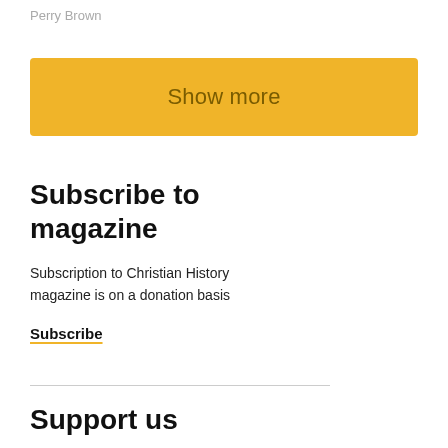Perry Brown
[Figure (other): Yellow 'Show more' button]
Subscribe to magazine
Subscription to Christian History magazine is on a donation basis
Subscribe
Support us